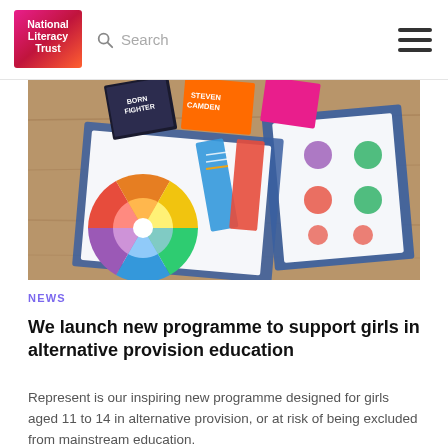National Literacy Trust | Search
[Figure (photo): Colourful literacy educational materials spread on a wooden table including a wheel chart, bookmarks, worksheets with circles, and books titled 'Born Fighter' and 'Steven Camden']
NEWS
We launch new programme to support girls in alternative provision education
Represent is our inspiring new programme designed for girls aged 11 to 14 in alternative provision, or at risk of being excluded from mainstream education.